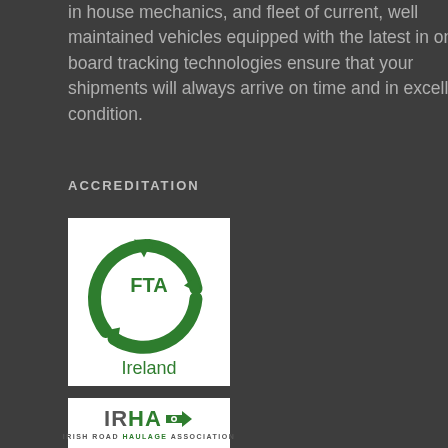in house mechanics, and fleet of current, well maintained vehicles equipped with the latest in on-board tracking technologies ensure that your shipments will always arrive on time and in excellent condition.
ACCREDITATION
[Figure (logo): FTA Ireland logo - green circular recycling arrows with FTA text in center, Ireland text below]
[Figure (logo): IRHA Irish Road Haulage Association logo - IRHA letters with green circular arrow icon, tagline below]